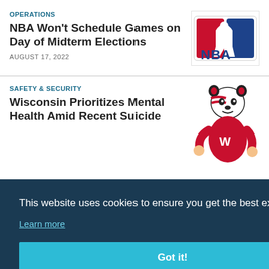OPERATIONS
NBA Won't Schedule Games on Day of Midterm Elections
AUGUST 17, 2022
[Figure (logo): NBA logo - basketball player silhouette with NBA text in blue and red]
SAFETY & SECURITY
Wisconsin Prioritizes Mental Health Amid Recent Suicide
[Figure (illustration): Wisconsin Badgers mascot Bucky Badger in red uniform]
This website uses cookies to ensure you get the best experience on our website.
Learn more
Got it!